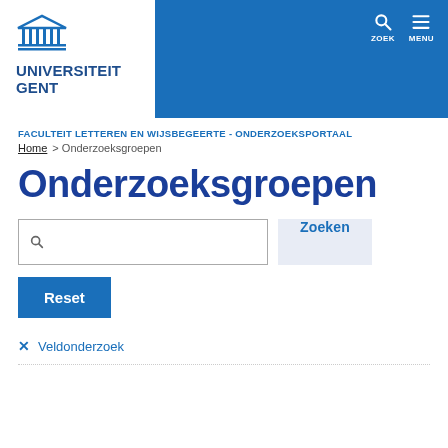[Figure (logo): Universiteit Gent logo with columned building icon and text UNIVERSITEIT GENT in blue]
FACULTEIT LETTEREN EN WIJSBEGEERTE - ONDERZOEKSPORTAAL
Home > Onderzoeksgroepen
Onderzoeksgroepen
Search box with magnifier icon
Zoeken
Reset
✕ Veldonderzoek